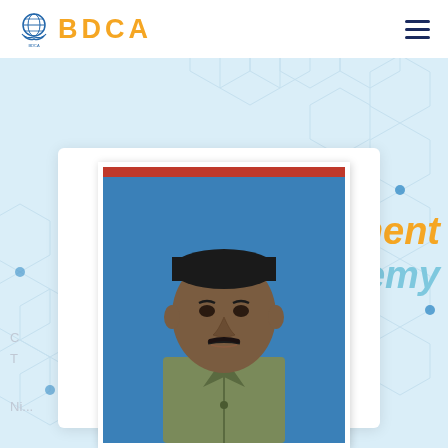BDCA
[Figure (logo): BDCA logo with globe/hands icon in blue and orange text]
[Figure (photo): Profile photograph of a man with mustache wearing olive/khaki shirt, against blue background, in a white-bordered photo card]
ment
Ademy
...hon/s...
India, Nic...
Ni...
...